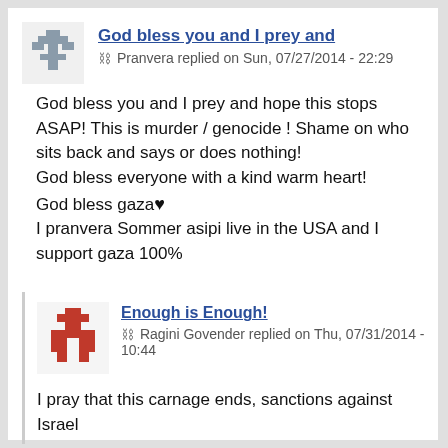God bless you and I prey and
Pranvera replied on Sun, 07/27/2014 - 22:29
God bless you and I prey and hope this stops ASAP! This is murder / genocide ! Shame on who sits back and says or does nothing!
God bless everyone with a kind warm heart!
God bless gaza♥
I pranvera Sommer asipi live in the USA and I support gaza 100%
Enough is Enough!
Ragini Govender replied on Thu, 07/31/2014 - 10:44
I pray that this carnage ends, sanctions against Israel